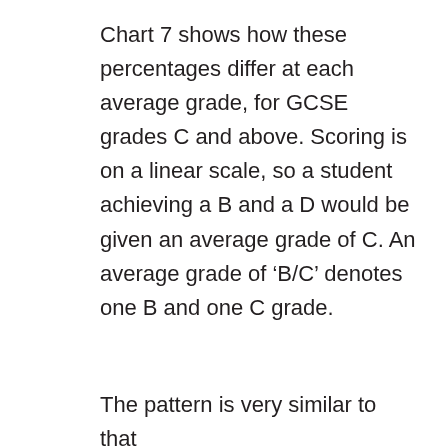Chart 7 shows how these percentages differ at each average grade, for GCSE grades C and above. Scoring is on a linear scale, so a student achieving a B and a D would be given an average grade of C. An average grade of ‘B/C’ denotes one B and one C grade.
The pattern is very similar to that